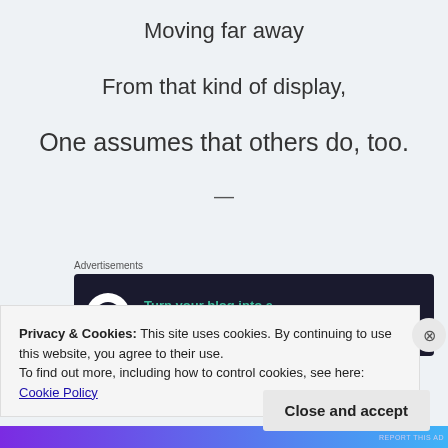Moving far away
From that kind of display,
One assumes that others do, too.
—
Advertisements
[Figure (other): Advertisement banner: dark background with Teachable logo (tree bonsai icon), teal text 'Turn your blog into a money-making online course.' and white right arrow.]
REPORT THIS AD
Privacy & Cookies: This site uses cookies. By continuing to use this website, you agree to their use.
To find out more, including how to control cookies, see here: Cookie Policy
Close and accept